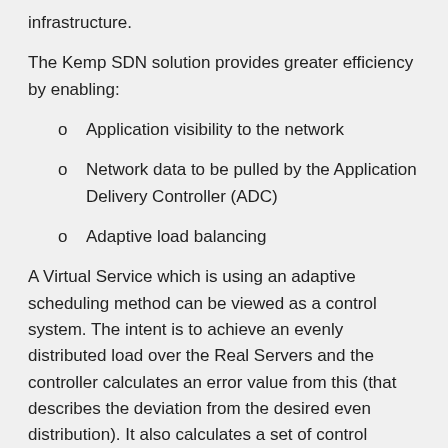infrastructure.
The Kemp SDN solution provides greater efficiency by enabling:
Application visibility to the network
Network data to be pulled by the Application Delivery Controller (ADC)
Adaptive load balancing
A Virtual Service which is using an adaptive scheduling method can be viewed as a control system. The intent is to achieve an evenly distributed load over the Real Servers and the controller calculates an error value from this (that describes the deviation from the desired even distribution). It also calculates a set of control values (Real Server weights) that are fed back into the system in a way to decrease the